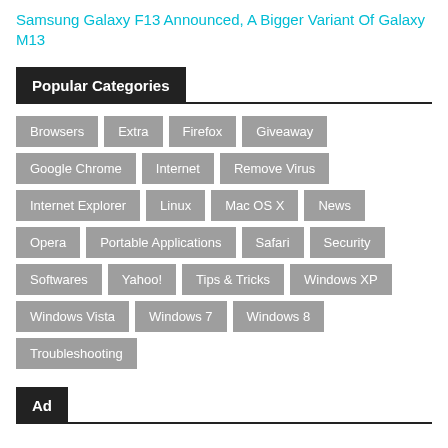Samsung Galaxy F13 Announced, A Bigger Variant Of Galaxy M13
Popular Categories
Browsers
Extra
Firefox
Giveaway
Google Chrome
Internet
Remove Virus
Internet Explorer
Linux
Mac OS X
News
Opera
Portable Applications
Safari
Security
Softwares
Yahoo!
Tips & Tricks
Windows XP
Windows Vista
Windows 7
Windows 8
Troubleshooting
Ad
Popular Tags